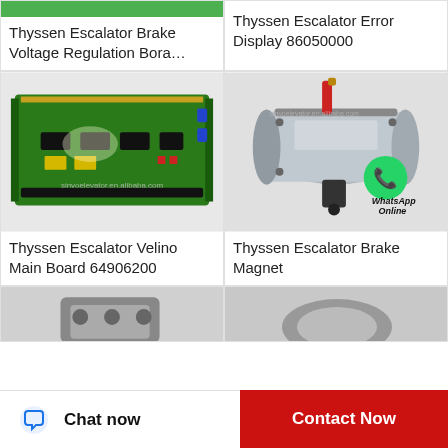[Figure (photo): Thyssen Escalator Brake Voltage Regulation Board - partial green bar visible at top]
Thyssen Escalator Brake Voltage Regulation Bora…
[Figure (photo): Thyssen Escalator Error Display 86050000 - product listing placeholder]
Thyssen Escalator Error Display 86050000
[Figure (photo): Thyssen Escalator Velino Main Board 64906200 - green PCB circuit board with watermark sinyoelevator.en.alibaba.com]
Thyssen Escalator Velino Main Board 64906200
[Figure (photo): Thyssen Escalator Brake Magnet - cylindrical metal device with red rod and black fitting, WhatsApp Online overlay, watermark sinyoelevator.en.alibaba.com]
Thyssen Escalator Brake Magnet
[Figure (photo): Partially visible connector/adapter component at bottom of page]
Chat now   Contact Now